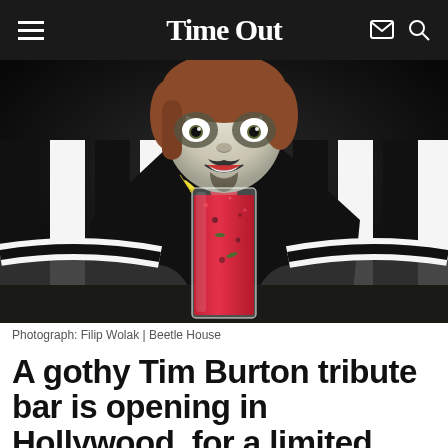Time Out
[Figure (photo): Person dressed as Beetlejuice in black-and-white striped suit with face paint, holding a red cocktail drink with a lemon wedge garnish, against a dark background.]
Photograph: Filip Wolak | Beetle House
A gothy Tim Burton tribute bar is opening in Hollywood, for a limited time